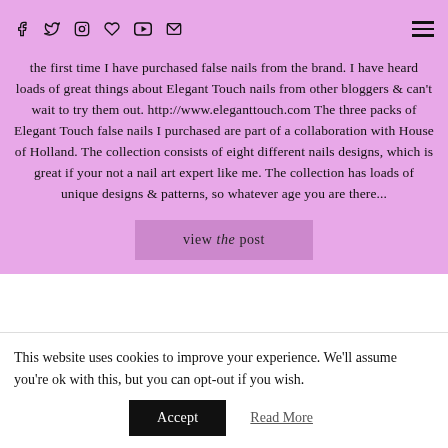Social media icons and hamburger menu
the first time I have purchased false nails from the brand. I have heard loads of great things about Elegant Touch nails from other bloggers & can't wait to try them out. http://www.eleganttouch.com The three packs of Elegant Touch false nails I purchased are part of a collaboration with House of Holland. The collection consists of eight different nails designs, which is great if your not a nail art expert like me. The collection has loads of unique designs & patterns, so whatever age you are there...
view the post
This website uses cookies to improve your experience. We'll assume you're ok with this, but you can opt-out if you wish.
Accept
Read More